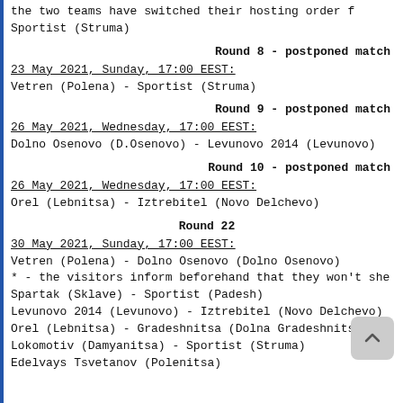the two teams have switched their hosting order f
Sportist (Struma)
Round 8 - postponed match
23 May 2021, Sunday, 17:00 EEST:
Vetren (Polena) - Sportist (Struma)
Round 9 - postponed match
26 May 2021, Wednesday, 17:00 EEST:
Dolno Osenovo (D.Osenovo) - Levunovo 2014 (Levunovo)
Round 10 - postponed match
26 May 2021, Wednesday, 17:00 EEST:
Orel (Lebnitsa) - Iztrebitel (Novo Delchevo)
Round 22
30 May 2021, Sunday, 17:00 EEST:
Vetren (Polena) - Dolno Osenovo (Dolno Osenovo)
* - the visitors inform beforehand that they won't she
Spartak (Sklave) - Sportist (Padesh)
Levunovo 2014 (Levunovo) - Iztrebitel (Novo Delchevo)
Orel (Lebnitsa) - Gradeshnitsa (Dolna Gradeshnitsa)
Lokomotiv (Damyanitsa) - Sportist (Struma)
Edelvays Tsvetanov (Polenitsa)